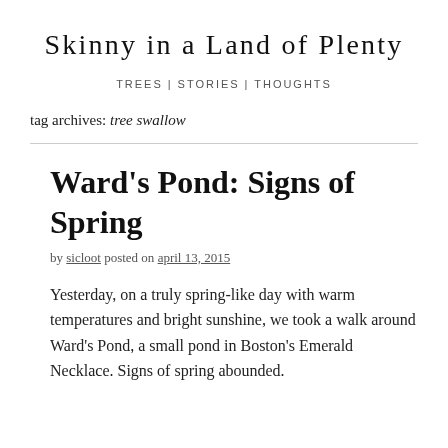Skinny in a Land of Plenty
TREES | STORIES | THOUGHTS
tag archives: tree swallow
Ward's Pond: Signs of Spring
by sicloot posted on april 13, 2015
Yesterday, on a truly spring-like day with warm temperatures and bright sunshine, we took a walk around Ward's Pond, a small pond in Boston's Emerald Necklace. Signs of spring abounded.